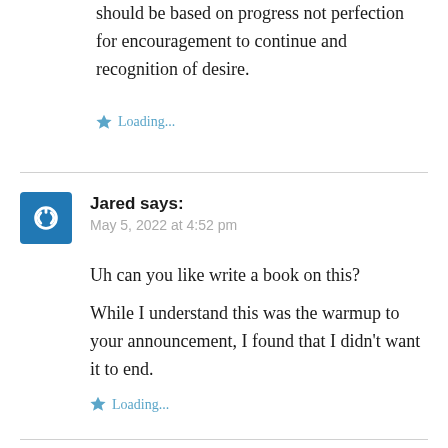should be based on progress not perfection for encouragement to continue and recognition of desire.
Loading...
Jared says: May 5, 2022 at 4:52 pm
Uh can you like write a book on this? While I understand this was the warmup to your announcement, I found that I didn't want it to end.
Loading...